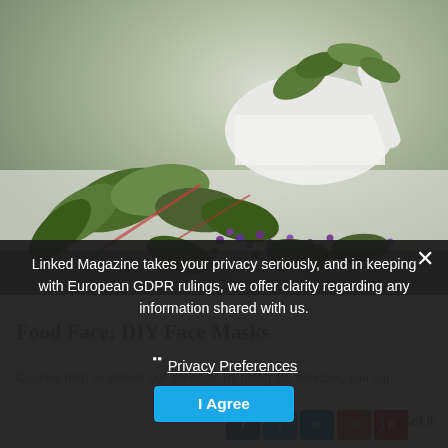[Figure (photo): Close-up photo of fresh herbs with purple flowers and green leaves on a white surface, with a white mortar and pestle in the background]
Linked Magazine takes your privacy seriously, and in keeping with European GDPR rulings, we offer clarity regarding any information shared with us.
❯ Privacy Preferences
I Agree
Food Face: DIY Face Masks
Cookies help us deliver our services. By using our services, you agr
Got it